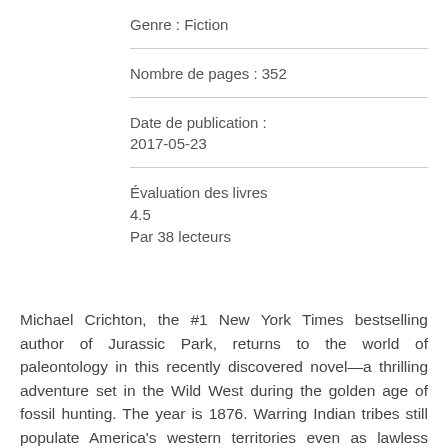Genre : Fiction
Nombre de pages : 352
Date de publication : 2017-05-23
Évaluation des livres
4.5
Par 38 lecteurs
Michael Crichton, the #1 New York Times bestselling author of Jurassic Park, returns to the world of paleontology in this recently discovered novel—a thrilling adventure set in the Wild West during the golden age of fossil hunting. The year is 1876. Warring Indian tribes still populate America's western territories even as lawless gold-rush towns